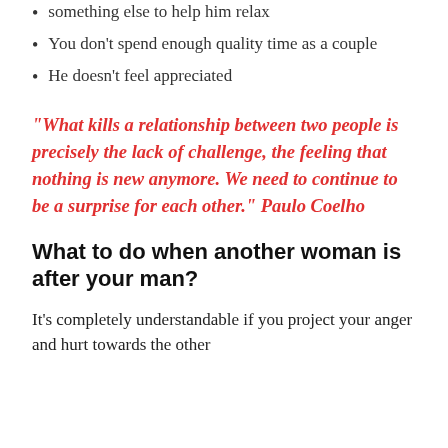something else to help him relax
You don't spend enough quality time as a couple
He doesn't feel appreciated
“What kills a relationship between two people is precisely the lack of challenge, the feeling that nothing is new anymore. We need to continue to be a surprise for each other.” Paulo Coelho
What to do when another woman is after your man?
It’s completely understandable if you project your anger and hurt towards the other